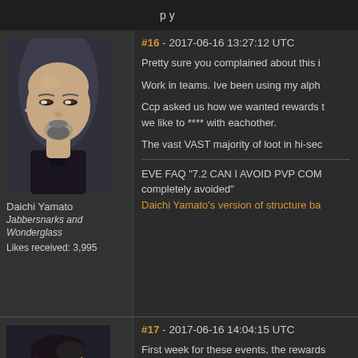(partially visible header text)
[Figure (photo): Avatar portrait of Daichi Yamato - bald man with beard in dark clothing]
Daichi Yamato
Jabbersnarks and Wonderglass
Likes received: 3,995
#16 - 2017-06-16 13:27:12 UTC
Pretty sure you complained about this i...
Work in teams. Ive been using my alph...
Ccp asked us how we wanted rewards t... we like to **** with eachother.
The vast VAST majority of loot in hi-sec...
EVE FAQ "7.2 CAN I AVOID PVP COM... completely avoided"
Daichi Yamato's version of structure ba...
[Figure (photo): Avatar portrait of second user - dark haired man with beard]
#17 - 2017-06-16 14:04:15 UTC
First week for these events, the rewards... market will be saturated - especially for... sites in peace.
Skin prices will recover, at least they ha... month.